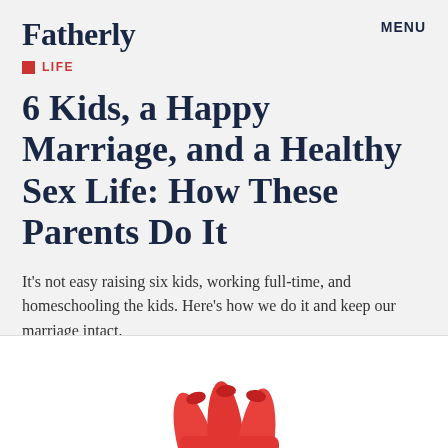Fatherly
MENU
LIFE
6 Kids, a Happy Marriage, and a Healthy Sex Life: How These Parents Do It
It's not easy raising six kids, working full-time, and homeschooling the kids. Here's how we do it and keep our marriage intact.
by Lizzy Francis
7.24.2019
[Figure (photo): Small thumbnail photo showing hands, partially visible in the upper right of the article area]
[Figure (photo): Partial image at the bottom of the page showing red/orange colored hands or fingers against a white background]